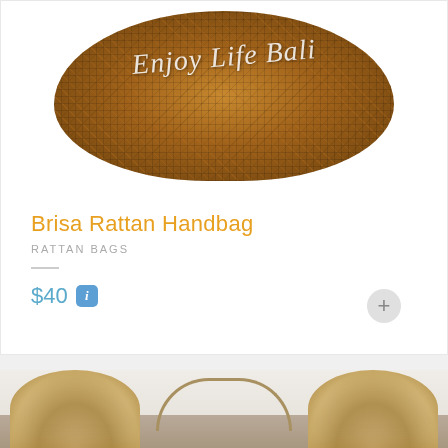[Figure (photo): Rattan handbag (woven brown basket bag) with white cursive text overlay reading 'Enjoy Life Bali']
Brisa Rattan Handbag
RATTAN BAGS
$40
[Figure (photo): Product image showing a fur/pom accessory or muff bag with furry pom-poms on both sides and a circular handle, photographed against a white textured wall]